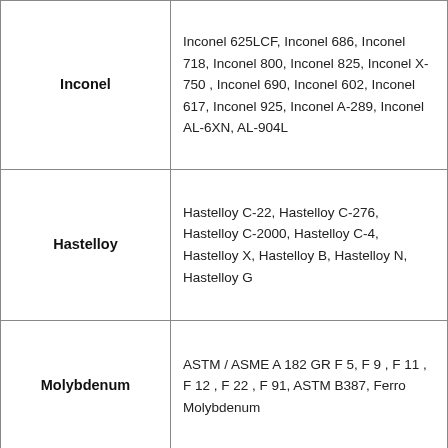| Material | Grades/Standards |
| --- | --- |
| Inconel | Inconel 625LCF, Inconel 686, Inconel 718, Inconel 800, Inconel 825, Inconel X-750 , Inconel 690, Inconel 602, Inconel 617, Inconel 925, Inconel A-289, Inconel AL-6XN, AL-904L |
| Hastelloy | Hastelloy C-22, Hastelloy C-276, Hastelloy C-2000, Hastelloy C-4, Hastelloy X, Hastelloy B, Hastelloy N, Hastelloy G |
| Molybdenum | ASTM / ASME A 182 GR F 5, F 9 , F 11 , F 12 , F 22 , F 91, ASTM B387, Ferro Molybdenum |
| Cobalt | Cobalt HS-6, Cobalt HS-4, Cobalt HS-25, Sterlite Grade 1, Sterlite Grade 6, Sterlite Grade 12, Sterlite Grade 21 |